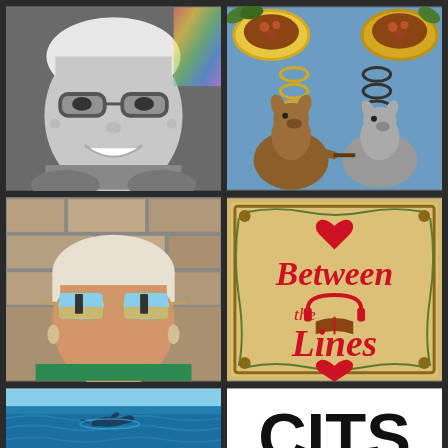[Figure (photo): Black and white selfie photo of a woman with short white/blonde hair, glasses, smiling in a car]
[Figure (illustration): Cartoon illustration of two cartoon animals (kangaroo and bear/wombat) facing each other with thought bubbles showing food items, on a blue background]
[Figure (photo): Color photo of a woman with short white/silver hair, wearing mirrored aviator sunglasses and a green top, smiling in front of a stone wall]
[Figure (logo): Between the Lines podcast logo on parchment-style background with red hearts, headphones, and open book illustration, text reads 'Between the Lines']
[Figure (photo): Photo of blue ocean water with a dolphin visible at the surface]
[Figure (logo): Partial logo/text on white background showing bold black letters, partially cut off]